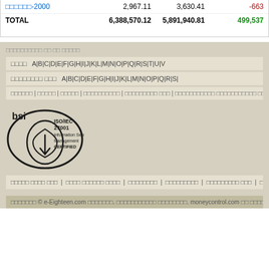|  |  |  |  |
| --- | --- | --- | --- |
| □□□□□□-2000 | 2,967.11 | 3,630.41 | -663 |
| TOTAL | 6,388,570.12 | 5,891,940.81 | 499,537 |
□□□□□□□□□□ □□ □□ □□□□□
□□□□  A|B|C|D|E|F|G|H|I|J|K|L|M|N|O|P|Q|R|S|T|U|V
□□□□□□□□ □□□  A|B|C|D|E|F|G|H|I|J|K|L|M|N|O|P|Q|R|S|
□□□□□□ | □□□□□ | □□□□□ | □□□□□□□□□□ | □□□□□□□□□ □□□ | □□□□□□□□□□□ □□□□□□□□□□□ □□□□□□ | □□□ | □□□□□□□
[Figure (logo): BSI ISO/IEC 27001 Information Security Management Certified logo]
□□□□□ □□□□ □□□ | □□□□ □□□□□□ □□□□ | □□□□□□□□ | □□□□□□□□□ | □□□□□□□□□ □□□ | □□□□□ □□ □□□□□□ |
□□□□□□□ © e-Eighteen.com □□□□□□□. □□□□□□□□□□□ □□□□□□□□. moneycontrol.com □□ □□□□-□□□□□□ □□ □□□